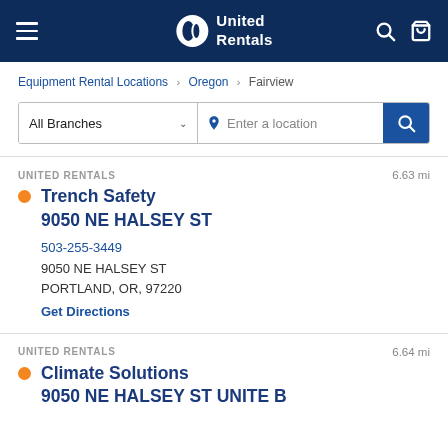United Rentals - navigation bar
Equipment Rental Locations > Oregon > Fairview
All Branches | Enter a location
UNITED RENTALS  6.63 mi
Trench Safety
9050 NE HALSEY ST
503-255-3449
9050 NE HALSEY ST
PORTLAND, OR, 97220
Get Directions
UNITED RENTALS  6.64 mi
Climate Solutions
9050 NE HALSEY ST UNITE B